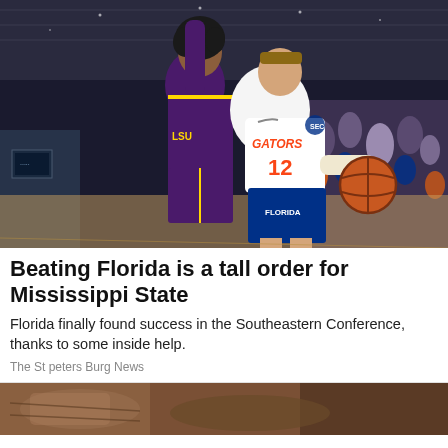[Figure (photo): Basketball game photo showing a Florida Gators player wearing jersey number 12 dribbling the ball past an LSU player in purple uniform, indoor arena with crowd]
Beating Florida is a tall order for Mississippi State
Florida finally found success in the Southeastern Conference, thanks to some inside help.
The St peters Burg News
[Figure (photo): Partial bottom photo showing what appears to be a sports-related scene, cut off]